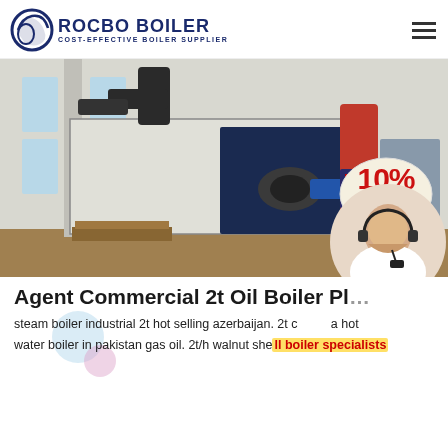ROCBO BOILER COST-EFFECTIVE BOILER SUPPLIER
[Figure (photo): Industrial boiler system in a factory setting with a 10% DISCOUNT badge overlay]
Agent Commercial 2t Oil Boiler Pl...
steam boiler industrial 2t hot selling azerbaijan. 2t c... ...a hot water boiler in pakistan gas oil. 2t/h walnut shell boiler specialists